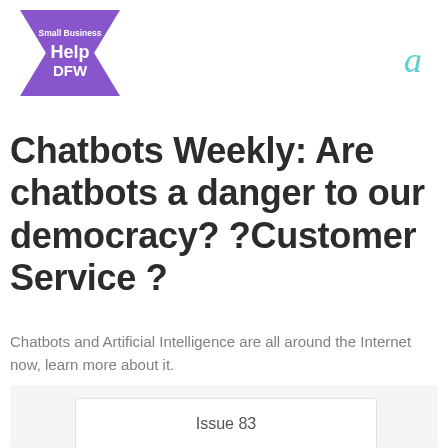[Figure (logo): Small Business Help DFW logo — purple Star of David shape with white text 'Small Business' at top, 'Help' in large white letters, 'DFW' below]
Chatbots Weekly: Are chatbots a danger to our democracy? ?Customer Service ?
Chatbots and Artificial Intelligence are all around the Internet now, learn more about it.
Issue 83